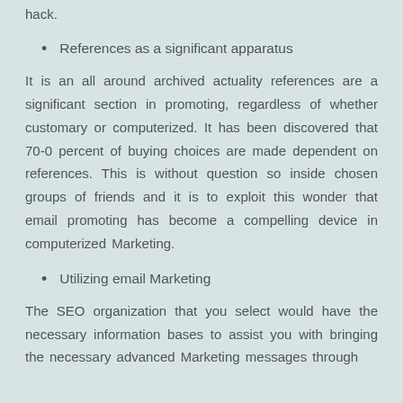hack.
References as a significant apparatus
It is an all around archived actuality references are a significant section in promoting, regardless of whether customary or computerized. It has been discovered that 70-0 percent of buying choices are made dependent on references. This is without question so inside chosen groups of friends and it is to exploit this wonder that email promoting has become a compelling device in computerized Marketing.
Utilizing email Marketing
The SEO organization that you select would have the necessary information bases to assist you with bringing the necessary advanced Marketing messages through